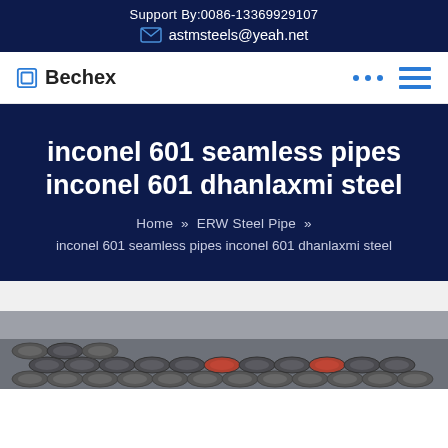Support By:0086-13369929107
astmsteels@yeah.net
Bechex
inconel 601 seamless pipes inconel 601 dhanlaxmi steel
Home » ERW Steel Pipe »
inconel 601 seamless pipes inconel 601 dhanlaxmi steel
[Figure (photo): Industrial steel pipes/tubes stacked in a warehouse or industrial facility]